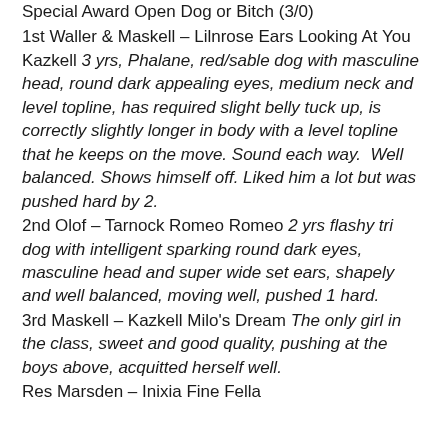Special Award Open Dog or Bitch (3/0)
1st Waller & Maskell – Lilnrose Ears Looking At You Kazkell 3 yrs, Phalane, red/sable dog with masculine head, round dark appealing eyes, medium neck and level topline, has required slight belly tuck up, is correctly slightly longer in body with a level topline that he keeps on the move. Sound each way.  Well balanced. Shows himself off. Liked him a lot but was pushed hard by 2.
2nd Olof – Tarnock Romeo Romeo 2 yrs flashy tri dog with intelligent sparking round dark eyes, masculine head and super wide set ears, shapely and well balanced, moving well, pushed 1 hard.
3rd Maskell – Kazkell Milo's Dream The only girl in the class, sweet and good quality, pushing at the boys above, acquitted herself well.
Res Marsden – Inixia Fine Fella